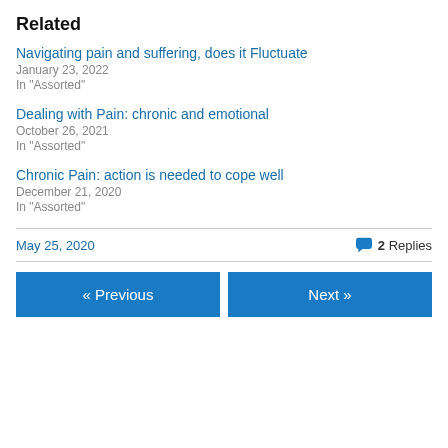Related
Navigating pain and suffering, does it Fluctuate
January 23, 2022
In "Assorted"
Dealing with Pain: chronic and emotional
October 26, 2021
In "Assorted"
Chronic Pain: action is needed to cope well
December 21, 2020
In "Assorted"
May 25, 2020   2 Replies
« Previous   Next »